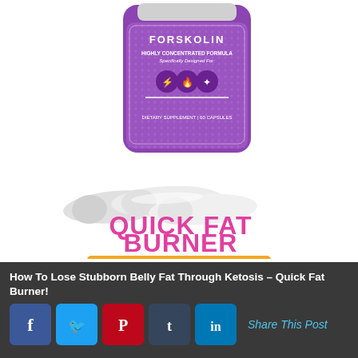[Figure (photo): Product advertisement image showing a purple Forskolin supplement bottle with white capsules in the foreground, text reading 'QUICK FAT BURNER' in pink, and an orange button saying 'GET YOUR FREE BOTTLE>>']
How To Lose Stubborn Belly Fat Through Ketosis – Quick Fat Burner!
Share This Post